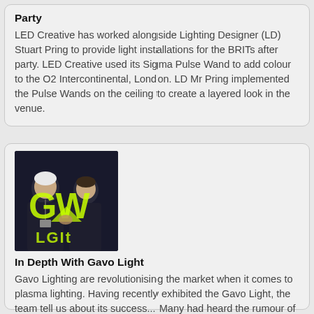Party
LED Creative has worked alongside Lighting Designer (LD) Stuart Pring to provide light installations for the BRITs after party. LED Creative used its Sigma Pulse Wand to add colour to the O2 Intercontinental, London. LD Mr Pring implemented the Pulse Wands on the ceiling to create a layered look in the venue.
[Figure (photo): Two men standing in front of a Gavo Light branded backdrop with a bright yellow-green GW logo. Both wearing black t-shirts.]
In Depth With Gavo Light
Gavo Lighting are revolutionising the market when it comes to plasma lighting. Having recently exhibited the Gavo Light, the team tell us about its success... Many had heard the rumour of plasma lighting and the major step forward that it could bring, but most did not believe the benefits would ever be realised as they are so radical.